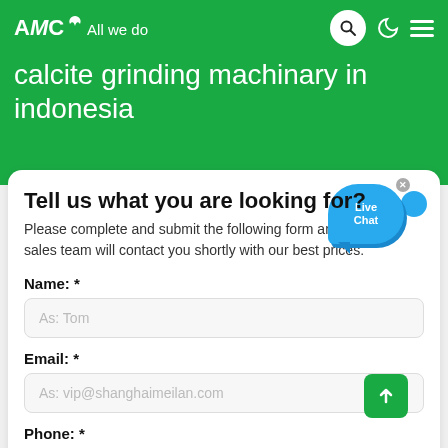AMC – All we do
calcite grinding machinary in indonesia
Tell us what you are looking for?
Please complete and submit the following form and our sales team will contact you shortly with our best prices.
Name: *
As: Tom
Email: *
As: vip@shanghaimeilan.com
Phone: *
With Country Code